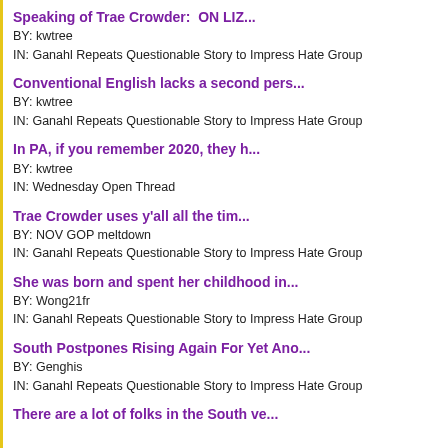Speaking of Trae Crowder:  ON LIZ...
BY: kwtree
IN: Ganahl Repeats Questionable Story to Impress Hate Group
Conventional English lacks a second pers...
BY: kwtree
IN: Ganahl Repeats Questionable Story to Impress Hate Group
In PA, if you remember 2020, they h...
BY: kwtree
IN: Wednesday Open Thread
Trae Crowder uses y'all all the tim...
BY: NOV GOP meltdown
IN: Ganahl Repeats Questionable Story to Impress Hate Group
She was born and spent her childhood in...
BY: Wong21fr
IN: Ganahl Repeats Questionable Story to Impress Hate Group
South Postpones Rising Again For Yet Ano...
BY: Genghis
IN: Ganahl Repeats Questionable Story to Impress Hate Group
There are a lot of folks in the South ve...